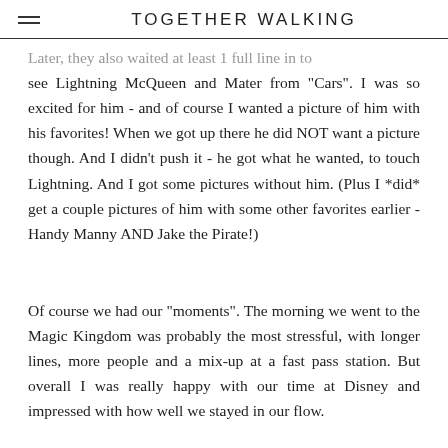TOGETHER WALKING
Later, they also waited at least 1 full line in to see Lightning McQueen and Mater from "Cars". I was so excited for him - and of course I wanted a picture of him with his favorites! When we got up there he did NOT want a picture though. And I didn't push it - he got what he wanted, to touch Lightning. And I got some pictures without him. (Plus I *did* get a couple pictures of him with some other favorites earlier - Handy Manny AND Jake the Pirate!)
Of course we had our "moments". The morning we went to the Magic Kingdom was probably the most stressful, with longer lines, more people and a mix-up at a fast pass station. But overall I was really happy with our time at Disney and impressed with how well we stayed in our flow.